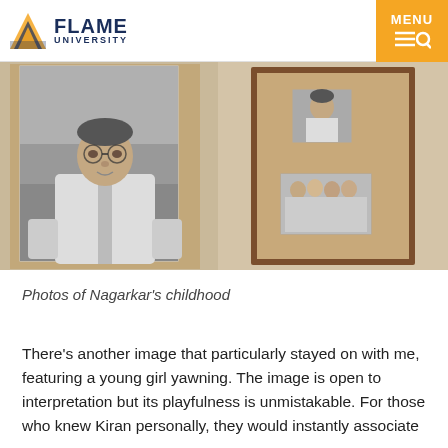FLAME UNIVERSITY — MENU
[Figure (photo): Two photographs: left shows a black-and-white portrait of a young boy wearing glasses and a white shirt; right shows a framed display board with two small black-and-white childhood photos mounted on it.]
Photos of Nagarkar's childhood
There's another image that particularly stayed on with me, featuring a young girl yawning. The image is open to interpretation but its playfulness is unmistakable. For those who knew Kiran personally, they would instantly associate